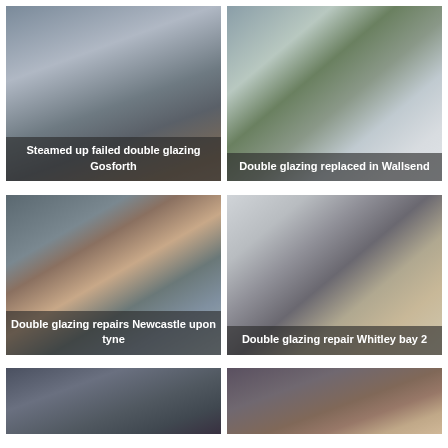[Figure (photo): Steamed up failed double glazing window showing condensation and foggy glass, view of buildings outside]
Steamed up failed double glazing Gosforth
[Figure (photo): Double glazing window replacement showing mossy exterior and white frame]
Double glazing replaced in Wallsend
[Figure (photo): Double glazing repair job in Newcastle upon Tyne showing interior view with brick exterior visible]
Double glazing repairs Newcastle upon tyne
[Figure (photo): Double glazing repair in Whitley Bay, second job, showing grey ceiling and kitchen appliances]
Double glazing repair Whitley bay 2
[Figure (photo): Partial view of another double glazing job, bottom of page, left side]
[Figure (photo): Partial view of another double glazing job, bottom of page, right side]